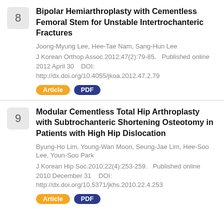Bipolar Hemiarthroplasty with Cementless Femoral Stem for Unstable Intertrochanteric Fractures
Joong-Myung Lee, Hee-Tae Nam, Sang-Hun Lee
J Korean Orthop Assoc.2012;47(2):79-85.   Published online 2012 April 30    DOI: http://dx.doi.org/10.4055/jkoa.2012.47.2.79
Modular Cementless Total Hip Arthroplasty with Subtrochanteric Shortening Osteotomy in Patients with High Hip Dislocation
Byung-Ho Lim, Young-Wan Moon, Seung-Jae Lim, Hee-Soo Lee, Youn-Soo Park
J Korean Hip Soc.2010;22(4):253-259.   Published online 2010 December 31    DOI: http://dx.doi.org/10.5371/jkhs.2010.22.4.253